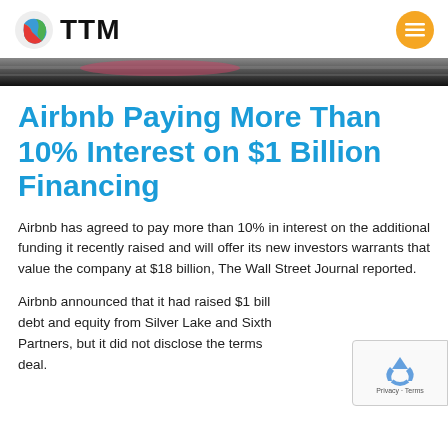TTM
[Figure (photo): Partial photo strip at top of article, dark tones]
Airbnb Paying More Than 10% Interest on $1 Billion Financing
Airbnb has agreed to pay more than 10% in interest on the additional funding it recently raised and will offer its new investors warrants that value the company at $18 billion, The Wall Street Journal reported.
Airbnb announced that it had raised $1 bill... debt and equity from Silver Lake and Sixth Partners, but it did not disclose the terms ... deal.